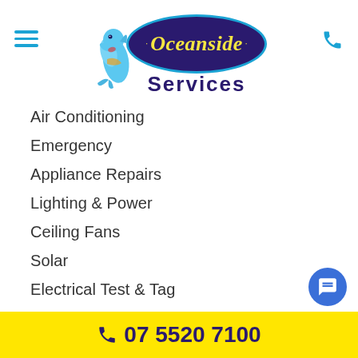[Figure (logo): Oceanside Services logo with dolphin mascot, dark navy oval with yellow italic text 'Oceanside' and blue 'Services' text below]
Air Conditioning
Emergency
Appliance Repairs
Lighting & Power
Ceiling Fans
Solar
Electrical Test & Tag
Real Estate
Safety Inspections
Retail & Commercial
07 5520 7100